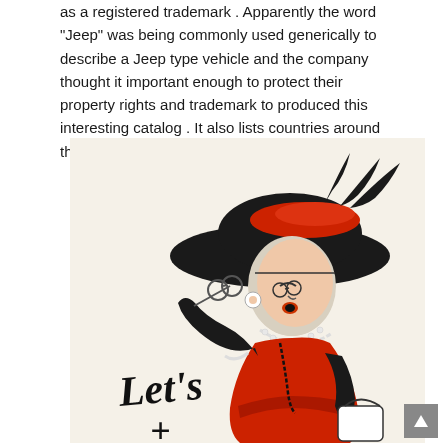as a registered trademark . Apparently the word "Jeep" was being commonly used generically to describe a Jeep type vehicle and the company thought it important enough to protect their property rights and trademark to produced this interesting catalog . It also lists countries around the world where "Jeep" has been registered ."
[Figure (illustration): Vintage cartoon illustration of an elderly woman in a large black hat with red feathers, wearing a red dress and black gloves, holding a lorgnette (eyeglasses on a stick), with a pearl necklace and earrings, holding a black purse. Below her in cursive text reads 'Let's' and partially visible text below. The background is cream/off-white.]